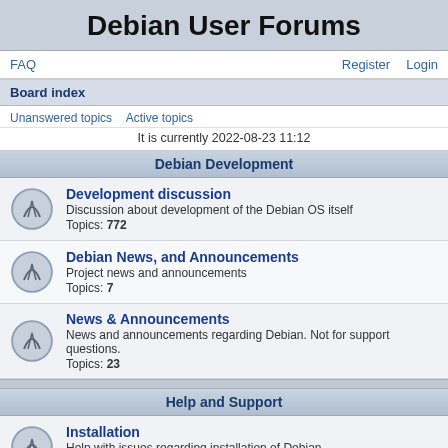Debian User Forums
FAQ  Register  Login
Board index
Unanswered topics  Active topics
It is currently 2022-08-23 11:12
Debian Development
Development discussion
Discussion about development of the Debian OS itself
Topics: 772
Debian News, and Announcements
Project news and announcements
Topics: 7
News & Announcements
News and announcements regarding Debian. Not for support questions.
Topics: 23
Help and Support
Installation
Help with issues regarding installation of Debian
Topics: 11241
Beginners Questions
New to Debian (Or Linux in general)? Ask your questions here!
Topics: 9259
General Questions